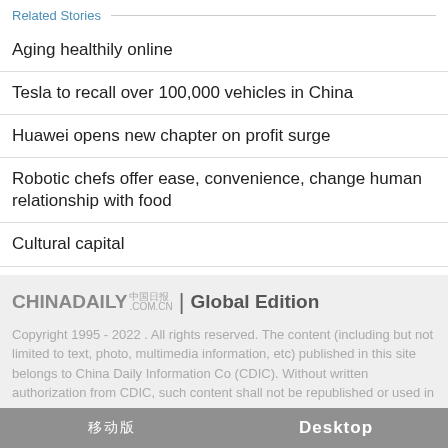Related Stories
Aging healthily online
Tesla to recall over 100,000 vehicles in China
Huawei opens new chapter on profit surge
Robotic chefs offer ease, convenience, change human relationship with food
Cultural capital
[Figure (logo): China Daily logo with text: CHINADAILY 中国日报网 .COM.CN | Global Edition]
Copyright 1995 - 2022 . All rights reserved. The content (including but not limited to text, photo, multimedia information, etc) published in this site belongs to China Daily Information Co (CDIC). Without written authorization from CDIC, such content shall not be republished or used in any form. Note: Browsers with 1024*768 or higher resolution are suggested for this site.
移动版   Desktop